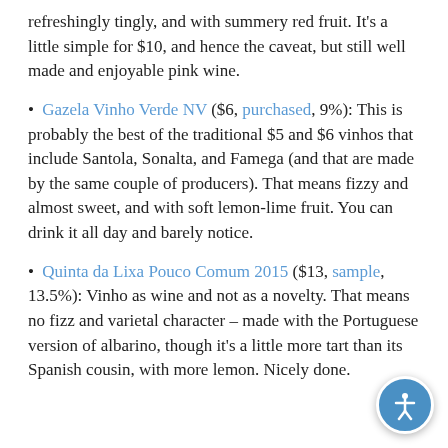refreshingly tingly, and with summery red fruit. It's a little simple for $10, and hence the caveat, but still well made and enjoyable pink wine.
Gazela Vinho Verde NV ($6, purchased, 9%): This is probably the best of the traditional $5 and $6 vinhos that include Santola, Sonalta, and Famega (and that are made by the same couple of producers). That means fizzy and almost sweet, and with soft lemon-lime fruit. You can drink it all day and barely notice.
Quinta da Lixa Pouco Comum 2015 ($13, sample, 13.5%): Vinho as wine and not as a novelty. That means no fizz and varietal character – made with the Portuguese version of albarino, though it's a little more tart than its Spanish cousin, with more lemon. Nicely done.